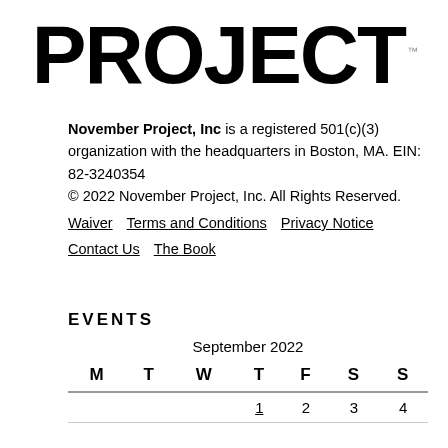[Figure (logo): November Project logo showing the word PROJECT in large bold letters with TM symbol]
November Project, Inc is a registered 501(c)(3) organization with the headquarters in Boston, MA. EIN: 82-3240354
© 2022 November Project, Inc. All Rights Reserved.
Waiver   Terms and Conditions   Privacy Notice
Contact Us   The Book
EVENTS
| M | T | W | T | F | S | S |
| --- | --- | --- | --- | --- | --- | --- |
|  |  |  | 1 | 2 | 3 | 4 |